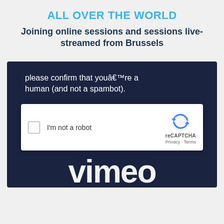ALL OVER THE WORLD
Joining online sessions and sessions live-streamed from Brussels
[Figure (screenshot): Screenshot of a dark navy blue webpage showing a CAPTCHA verification dialog. The page text reads 'please confirm that youâ€™re a human (and not a spambot).' with a reCAPTCHA widget showing a checkbox labeled 'I'm not a robot' and the reCAPTCHA logo with Privacy and Terms links. Below the CAPTCHA box, partially visible text shows the Vimeo logo in large white letters.]